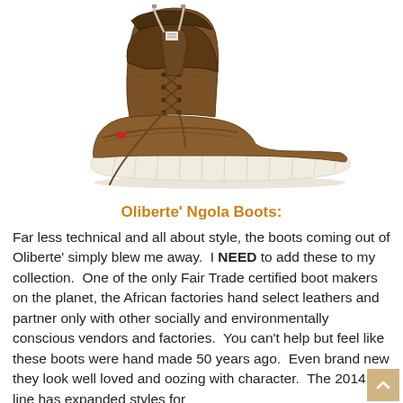[Figure (photo): A brown leather lace-up boot (Oliberte Ngola Boot) with white rubber sole, distressed leather upper, and dangling laces, photographed on white background.]
Oliberte' Ngola Boots:
Far less technical and all about style, the boots coming out of Oliberte' simply blew me away.  I NEED to add these to my collection.  One of the only Fair Trade certified boot makers on the planet, the African factories hand select leathers and partner only with other socially and environmentally conscious vendors and factories.  You can't help but feel like these boots were hand made 50 years ago.  Even brand new they look well loved and oozing with character.  The 2014 line has expanded styles for